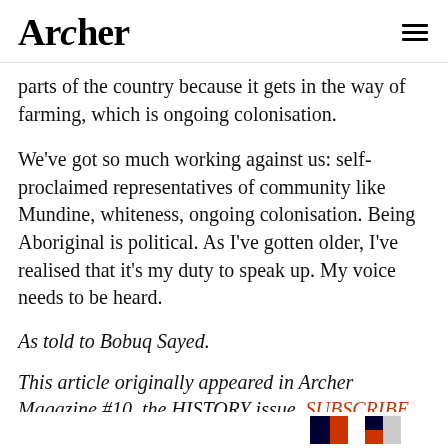Archer
parts of the country because it gets in the way of farming, which is ongoing colonisation.
We've got so much working against us: self-proclaimed representatives of community like Mundine, whiteness, ongoing colonisation. Being Aboriginal is political. As I've gotten older, I've realised that it's my duty to speak up. My voice needs to be heard.
As told to Bobuq Sayed.
This article originally appeared in Archer Magazine #10, the HISTORY issue. SUBSCRIBE TO ARCHER MAGAZINE
[Figure (photo): Partial bottom image showing a flag or graphic element, cropped at the bottom of the page]